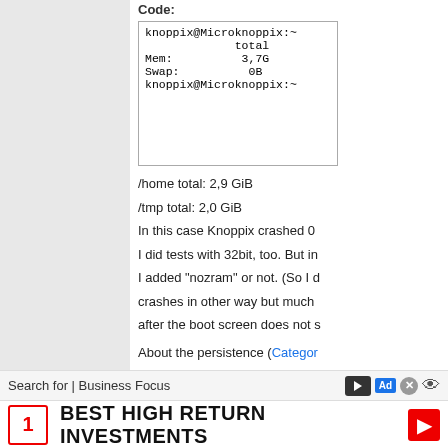Code:
knoppix@Microknoppix:~
             total
Mem:          3,7G
Swap:          0B
knoppix@Microknoppix:~
/home total: 2,9 GiB
/tmp total: 2,0 GiB
In this case Knoppix crashed 0...
I did tests with 32bit, too. But in...
I added "nozram" or not. (So I d...
crashes in other way but much ...
after the boot screen does not s...
About the persistence (Categor... question. How is executed the s... data.img file:
1) continuously (I mean change...
2) or changes are written in me... saved to HDD (into the knoppix... Although already I do not use a... "persistence" with scripts (to no...
Search for | Business Focus
1   BEST HIGH RETURN INVESTMENTS